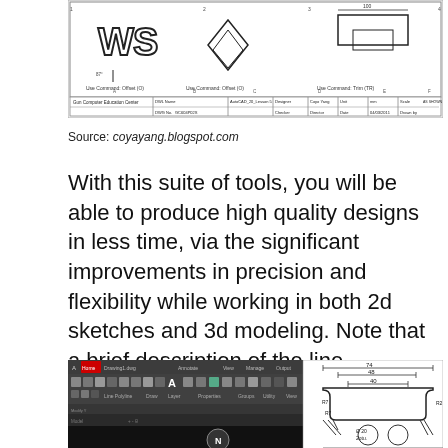[Figure (screenshot): AutoCAD drawing with title block showing geometric shapes, commands Offset and Trim, designed by Coyo Yong, dated 04/03/2011, GC604P02S drawing number, Gun Computer Education Center]
Source: coyayang.blogspot.com
With this suite of tools, you will be able to produce high quality designs in less time, via the significant improvements in precision and flexibility while working in both 2d sketches and 3d modeling. Note that a brief description of the line command appears next to the cursor.
[Figure (screenshot): AutoCAD interface screenshot showing toolbar ribbon and a technical drawing with dimensions 74, 48, 40, R7, Ø20, 2otu.]